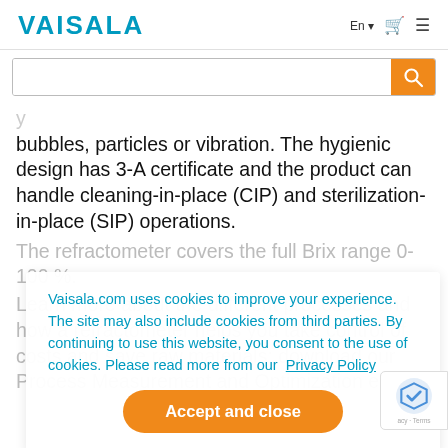VAISALA
bubbles, particles or vibration. The hygienic design has 3-A certificate and the product can handle cleaning-in-place (CIP) and sterilization-in-place (SIP) operations.
The refractometer covers the full Brix range 0-100 %.
Learn more about the different processes and how a refractometer helps you take control of costs and save raw materials; download our Process Measurement and Optimization eBook!
Vaisala.com uses cookies to improve your experience. The site may also include cookies from third parties. By continuing to use this website, you consent to the use of cookies. Please read more from our Privacy Policy
Accept and close